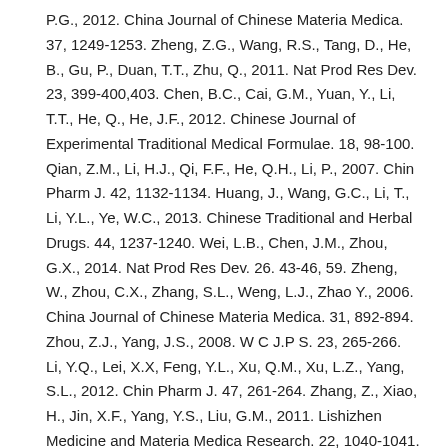P.G., 2012. China Journal of Chinese Materia Medica. 37, 1249-1253. Zheng, Z.G., Wang, R.S., Tang, D., He, B., Gu, P., Duan, T.T., Zhu, Q., 2011. Nat Prod Res Dev. 23, 399-400,403. Chen, B.C., Cai, G.M., Yuan, Y., Li, T.T., He, Q., He, J.F., 2012. Chinese Journal of Experimental Traditional Medical Formulae. 18, 98-100. Qian, Z.M., Li, H.J., Qi, F.F., He, Q.H., Li, P., 2007. Chin Pharm J. 42, 1132-1134. Huang, J., Wang, G.C., Li, T., Li, Y.L., Ye, W.C., 2013. Chinese Traditional and Herbal Drugs. 44, 1237-1240. Wei, L.B., Chen, J.M., Zhou, G.X., 2014. Nat Prod Res Dev. 26. 43-46, 59. Zheng, W., Zhou, C.X., Zhang, S.L., Weng, L.J., Zhao Y., 2006. China Journal of Chinese Materia Medica. 31, 892-894. Zhou, Z.J., Yang, J.S., 2008. W C J.P S. 23, 265-266. Li, Y.Q., Lei, X.X, Feng, Y.L., Xu, Q.M., Xu, L.Z., Yang, S.L., 2012. Chin Pharm J. 47, 261-264. Zhang, Z., Xiao, H., Jin, X.F., Yang, Y.S., Liu, G.M., 2011. Lishizhen Medicine and Materia Medica Research. 22, 1040-1041. Zhang, Q., 2010. The Studies on the Chemical Constituents in leaves of Sorbus tianschanica Ruper. Xinjiang Medical University, Urumchi. Kunming Institute of Botany, Chinese Academy of